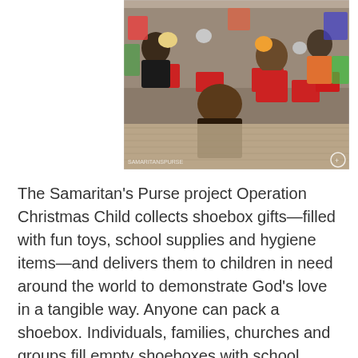[Figure (photo): Children sitting on mats, happily holding stuffed animal toys and shoebox gifts. They appear to be in a tropical/island setting. The photo has a watermark in the bottom left corner and a small logo/icon in the bottom right.]
The Samaritan's Purse project Operation Christmas Child collects shoebox gifts—filled with fun toys, school supplies and hygiene items—and delivers them to children in need around the world to demonstrate God's love in a tangible way. Anyone can pack a shoebox. Individuals, families, churches and groups fill empty shoeboxes with school supplies, hygiene items a[...redacted...]s, such as